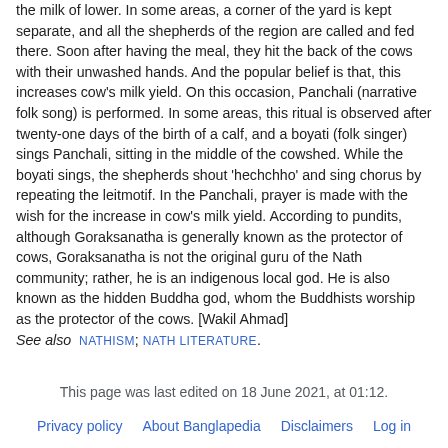the milk of lower. In some areas, a corner of the yard is kept separate, and all the shepherds of the region are called and fed there. Soon after having the meal, they hit the back of the cows with their unwashed hands. And the popular belief is that, this increases cow's milk yield. On this occasion, Panchali (narrative folk song) is performed. In some areas, this ritual is observed after twenty-one days of the birth of a calf, and a boyati (folk singer) sings Panchali, sitting in the middle of the cowshed. While the boyati sings, the shepherds shout 'hechchho' and sing chorus by repeating the leitmotif. In the Panchali, prayer is made with the wish for the increase in cow's milk yield. According to pundits, although Goraksanatha is generally known as the protector of cows, Goraksanatha is not the original guru of the Nath community; rather, he is an indigenous local god. He is also known as the hidden Buddha god, whom the Buddhists worship as the protector of the cows. [Wakil Ahmad]
See also NATHISM; NATH LITERATURE.
This page was last edited on 18 June 2021, at 01:12.
Privacy policy   About Banglapedia   Disclaimers   Log in